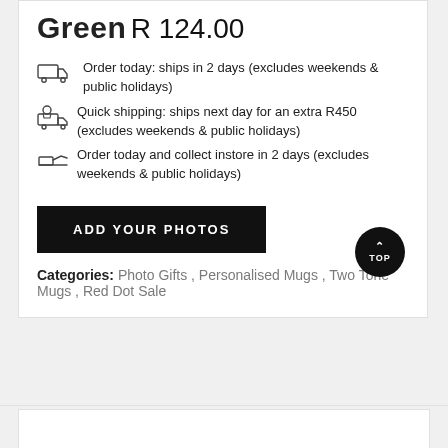Green
R 124.00
Order today: ships in 2 days (excludes weekends & public holidays)
Quick shipping: ships next day for an extra R450 (excludes weekends & public holidays)
Order today and collect instore in 2 days (excludes weekends & public holidays)
ADD YOUR PHOTOS
Categories: Photo Gifts , Personalised Mugs , Two Tone Mugs , Red Dot Sale